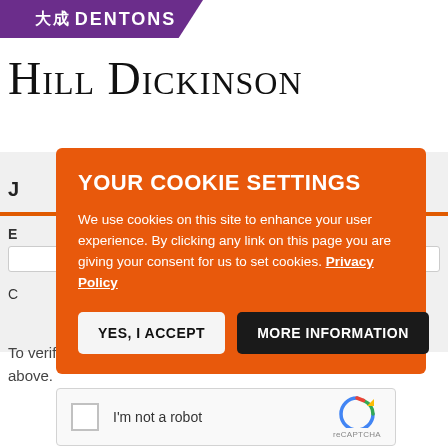[Figure (logo): Dentons law firm logo with purple background and white text showing Chinese characters and DENTONS in capitals]
[Figure (logo): Hill Dickinson law firm logo in large serif small-caps font]
YOUR COOKIE SETTINGS
We use cookies on this site to enhance your user experience. By clicking any link on this page you are giving your consent for us to set cookies. Privacy Policy
YES, I ACCEPT
MORE INFORMATION
To verify your identity, please type what you see in the box above.
[Figure (other): reCAPTCHA widget with checkbox labeled I'm not a robot and reCAPTCHA logo]